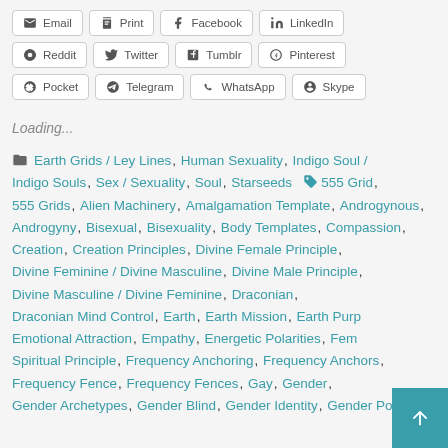Email, Print, Facebook, LinkedIn, Reddit, Twitter, Tumblr, Pinterest, Pocket, Telegram, WhatsApp, Skype share buttons
Loading...
Earth Grids / Ley Lines, Human Sexuality, Indigo Soul / Indigo Souls, Sex / Sexuality, Soul, Starseeds   555 Grid, 555 Grids, Alien Machinery, Amalgamation Template, Androgynous, Androgyny, Bisexual, Bisexuality, Body Templates, Compassion, Creation, Creation Principles, Divine Female Principle, Divine Feminine / Divine Masculine, Divine Male Principle, Divine Masculine / Divine Feminine, Draconian, Draconian Mind Control, Earth, Earth Mission, Earth Purp..., Emotional Attraction, Empathy, Energetic Polarities, Fem... Spiritual Principle, Frequency Anchoring, Frequency Anchors, Frequency Fence, Frequency Fences, Gay, Gender, Gender Archetypes, Gender Blind, Gender Identity, Gender Polarities